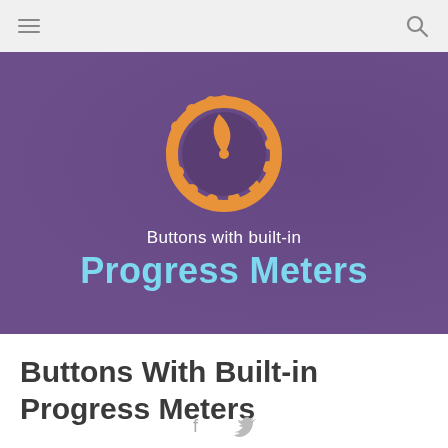[navigation bar with hamburger menu and search icon]
[Figure (illustration): Purple hero banner with an orange gear/speedometer icon in the center top, text 'Buttons with built-in' in white, and 'Progress Meters' in large light blue bold text below it.]
Buttons With Built-in Progress Meters
[Figure (other): Social sharing icons: Facebook (f) and Twitter (bird) icons centered at the bottom of the page.]